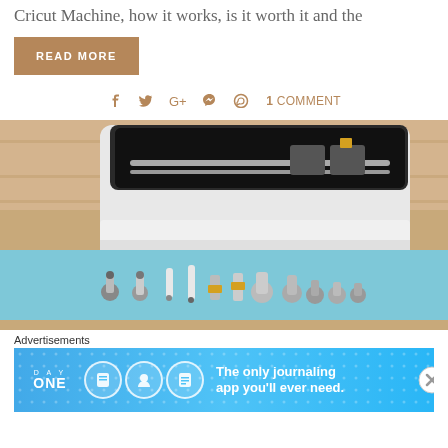Cricut Machine, how it works, is it worth it and the
READ MORE
1 COMMENT
[Figure (photo): Photo of a Cricut cutting machine with various tool attachments laid out on a blue cutting mat in front of it. The machine is white with a dark lid open. Multiple cutting tools, pens, and scoring tools are arranged on the mat.]
Advertisements
[Figure (screenshot): Advertisement banner for Day One journaling app with blue background, circular icon characters, and text reading 'The only journaling app you'll ever need.']